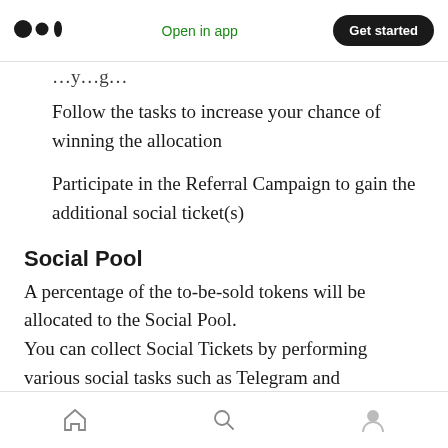Open in app | Get started
…y…g…
Follow the tasks to increase your chance of winning the allocation
Participate in the Referral Campaign to gain the additional social ticket(s)
Social Pool
A percentage of the to-be-sold tokens will be allocated to the Social Pool.
You can collect Social Tickets by performing various social tasks such as Telegram and
Home | Search | Profile